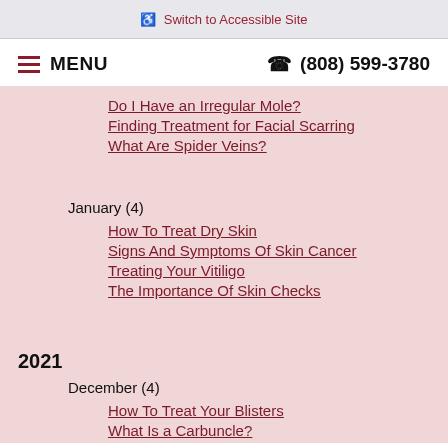♿ Switch to Accessible Site
☰ MENU   ☎ (808) 599-3780
Do I Have an Irregular Mole?
Finding Treatment for Facial Scarring
What Are Spider Veins?
January (4)
How To Treat Dry Skin
Signs And Symptoms Of Skin Cancer
Treating Your Vitiligo
The Importance Of Skin Checks
2021
December (4)
How To Treat Your Blisters
What Is a Carbuncle?